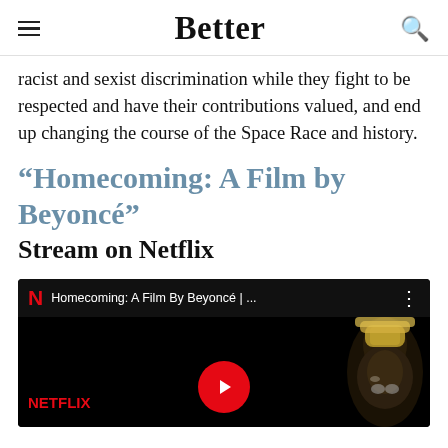Better
racist and sexist discrimination while they fight to be respected and have their contributions valued, and end up changing the course of the Space Race and history.
“Homecoming: A Film by Beyoncé” Stream on Netflix
[Figure (screenshot): YouTube embed showing Netflix's 'Homecoming: A Film By Beyoncé' video with Netflix logo, video title bar, play button, and a silhouette of Beyoncé wearing an ornate headdress against a black background.]